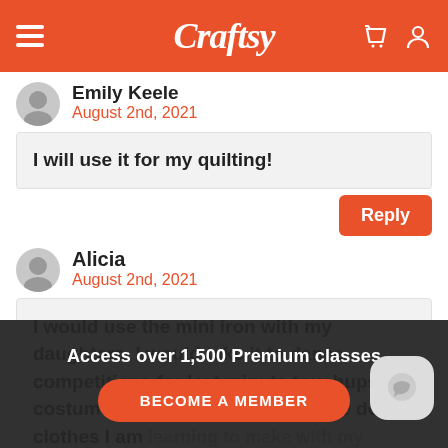Craftsy
Emily Keele
August 2nd, 2021
I will use it for my quilting!
Alicia
August 2nd, 2021
I would use the mini iron with my daughters. I would take it to dance competitions for last minute touchups on costumes and I would use it for the doll clothes I am learning to make with my youngest daughter for her dolls.
Access over 1,500 Premium classes
BECOME A MEMBER